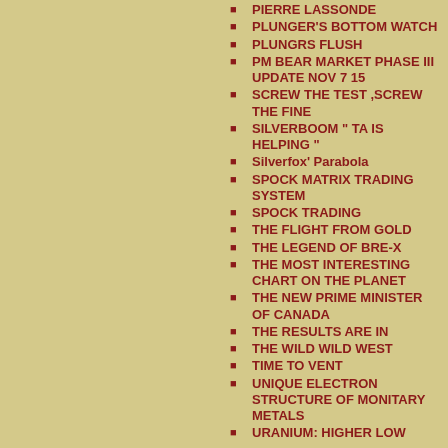PIERRE LASSONDE
PLUNGER'S BOTTOM WATCH
PLUNGRS FLUSH
PM BEAR MARKET PHASE III UPDATE NOV 7 15
SCREW THE TEST ,SCREW THE FINE
SILVERBOOM " TA IS HELPING "
Silverfox' Parabola
SPOCK MATRIX TRADING SYSTEM
SPOCK TRADING
THE FLIGHT FROM GOLD
THE LEGEND OF BRE-X
THE MOST INTERESTING CHART ON THE PLANET
THE NEW PRIME MINISTER OF CANADA
THE RESULTS ARE IN
THE WILD WILD WEST
TIME TO VENT
UNIQUE ELECTRON STRUCTURE OF MONITARY METALS
URANIUM: HIGHER LOW